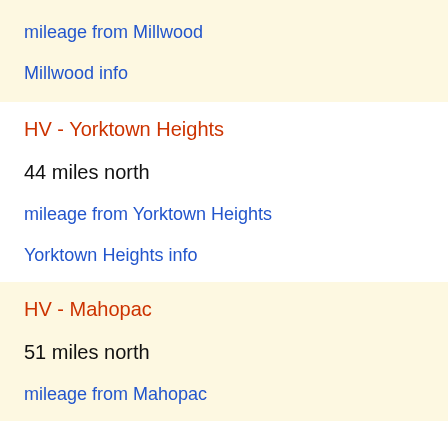mileage from Millwood
Millwood info
HV - Yorktown Heights
44 miles north
mileage from Yorktown Heights
Yorktown Heights info
HV - Mahopac
51 miles north
mileage from Mahopac